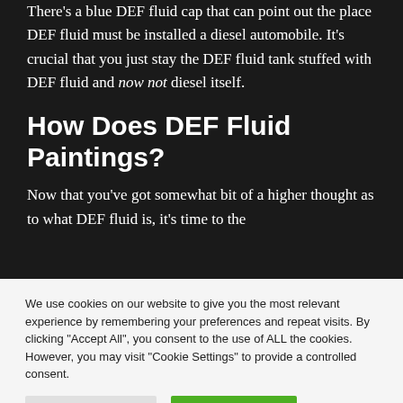There's a blue DEF fluid cap that can point out the place DEF fluid must be installed a diesel automobile. It's crucial that you just stay the DEF fluid tank stuffed with DEF fluid and now not diesel itself.
How Does DEF Fluid Paintings?
Now that you've got somewhat bit of a higher thought as to what DEF fluid is, it's time to the
We use cookies on our website to give you the most relevant experience by remembering your preferences and repeat visits. By clicking "Accept All", you consent to the use of ALL the cookies. However, you may visit "Cookie Settings" to provide a controlled consent.